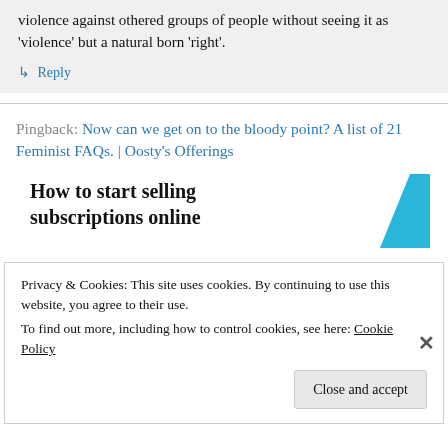violence against othered groups of people without seeing it as 'violence' but a natural born 'right'.
↳ Reply
Pingback: Now can we get on to the bloody point? A list of 21 Feminist FAQs. | Oosty's Offerings
[Figure (infographic): Advertisement banner: 'How to start selling subscriptions online' with a blue geometric shape on the right]
Privacy & Cookies: This site uses cookies. By continuing to use this website, you agree to their use.
To find out more, including how to control cookies, see here: Cookie Policy
Close and accept